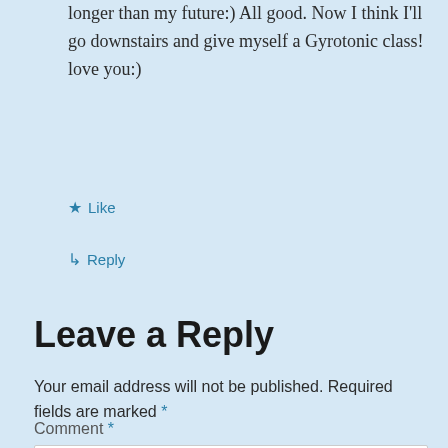longer than my future:) All good. Now I think I'll go downstairs and give myself a Gyrotonic class! love you:)
★ Like
↳ Reply
Leave a Reply
Your email address will not be published. Required fields are marked *
Comment *